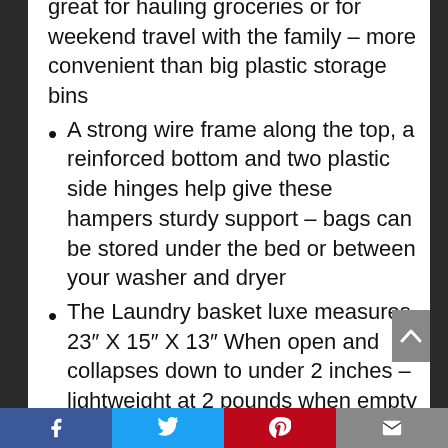great for hauling groceries or for weekend travel with the family – more convenient than big plastic storage bins
A strong wire frame along the top, a reinforced bottom and two plastic side hinges help give these hampers sturdy support – bags can be stored under the bed or between your washer and dryer
The Laundry basket luxe measures 23″ X 15″ X 13″ When open and collapses down to under 2 inches – lightweight at 2 pounds when empty and can hold up to 55